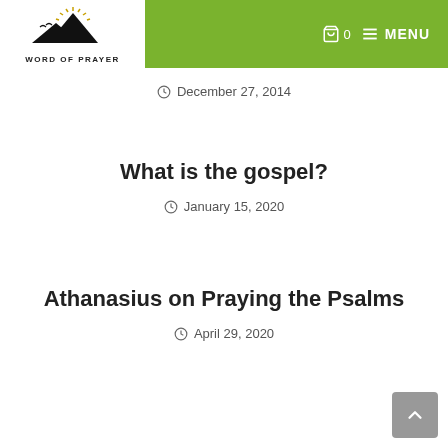WORD OF PRAYER — navigation header with logo and MENU
December 27, 2014
What is the gospel?
January 15, 2020
Athanasius on Praying the Psalms
April 29, 2020